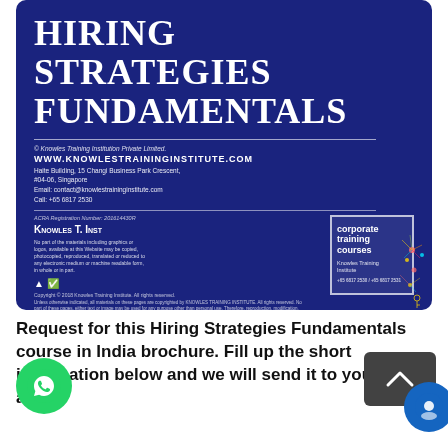[Figure (illustration): Blue brochure cover for 'Hiring Strategies Fundamentals' by Knowles Training Institution, showing title, contact info, corporate training courses box, and fireworks decoration]
Request for this Hiring Strategies Fundamentals course in India brochure. Fill up the short information below and we will send it to you right away!